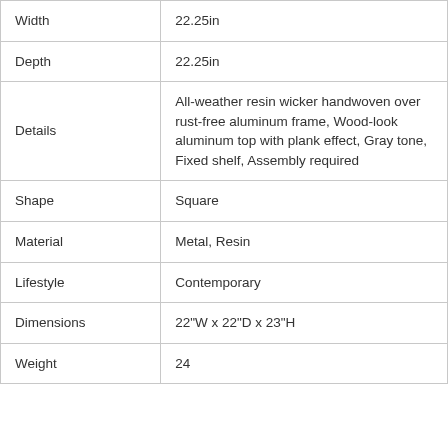| Width | 22.25in |
| Depth | 22.25in |
| Details | All-weather resin wicker handwoven over rust-free aluminum frame, Wood-look aluminum top with plank effect, Gray tone, Fixed shelf, Assembly required |
| Shape | Square |
| Material | Metal, Resin |
| Lifestyle | Contemporary |
| Dimensions | 22"W x 22"D x 23"H |
| Weight | 24 |